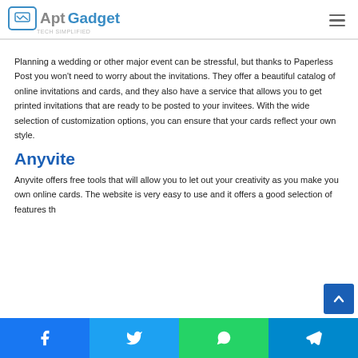AptGadget
Planning a wedding or other major event can be stressful, but thanks to Paperless Post you won't need to worry about the invitations. They offer a beautiful catalog of online invitations and cards, and they also have a service that allows you to get printed invitations that are ready to be posted to your invitees. With the wide selection of customization options, you can ensure that your cards reflect your own style.
Anyvite
Anyvite offers free tools that will allow you to let out your creativity as you make you own online cards. The website is very easy to use and it offers a good selection of features th
Social share bar: Facebook, Twitter, WhatsApp, Telegram